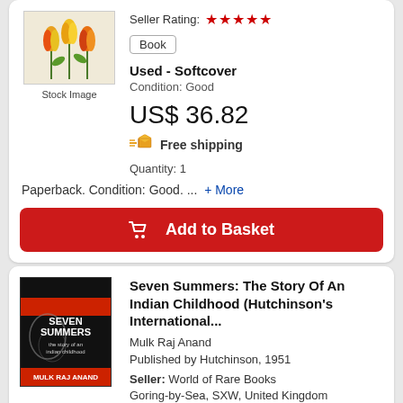[Figure (photo): Book cover thumbnail showing flowers (tulips) on a light background, stock image]
Stock Image
Seller Rating: ★★★★★
Book
Used - Softcover
Condition: Good
US$ 36.82
Free shipping
Quantity: 1
Paperback. Condition: Good. ... + More
Add to Basket
Seven Summers: The Story Of An Indian Childhood (Hutchinson's International...
Mulk Raj Anand
Published by Hutchinson, 1951
Seller: World of Rare Books
Goring-by-Sea, SXW, United Kingdom
Seller Rating: ★★★★★